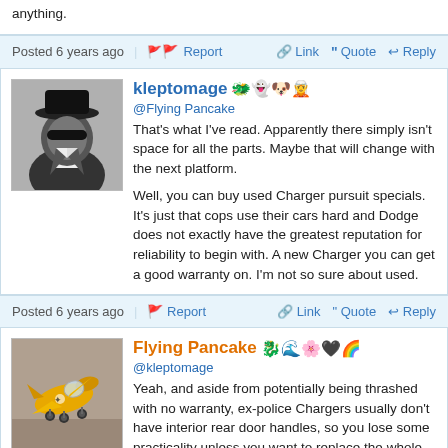anything.
Posted 6 years ago  Report  Link  Quote  Reply
kleptomage
@Flying Pancake
That's what I've read. Apparently there simply isn't space for all the parts. Maybe that will change with the next platform.

Well, you can buy used Charger pursuit specials. It's just that cops use their cars hard and Dodge does not exactly have the greatest reputation for reliability to begin with. A new Charger you can get a good warranty on. I'm not so sure about used.
Posted 6 years ago  Report  Link  Quote  Reply
Flying Pancake
@kleptomage
Yeah, and aside from potentially being thrashed with no warranty, ex-police Chargers usually don't have interior rear door handles, so you lose some practicality unless you want to replace the whole door